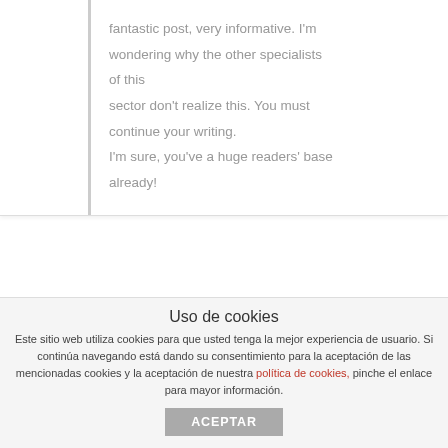fantastic post, very informative. I'm wondering why the other specialists of this sector don't realize this. You must continue your writing. I'm sure, you've a huge readers' base already!
day trang diem ca nhan
18 NOVIEMBRE, 2019 AT 9:13 AM
Uso de cookies
Este sitio web utiliza cookies para que usted tenga la mejor experiencia de usuario. Si continúa navegando está dando su consentimiento para la aceptación de las mencionadas cookies y la aceptación de nuestra política de cookies, pinche el enlace para mayor información.
ACEPTAR